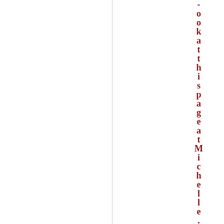-ook at this page at Michelle.